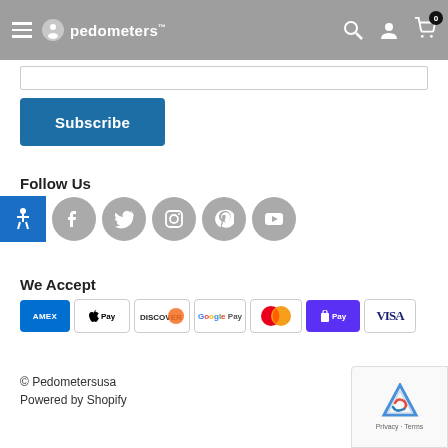pedometers
Subscribe
Follow Us
[Figure (infographic): Social media icons row: accessibility icon (blue), Facebook, Twitter, Instagram, Pinterest, YouTube (all grey circles)]
We Accept
[Figure (infographic): Payment method icons: American Express, Apple Pay, Discover, Google Pay, Mastercard, Shop Pay, Visa]
© Pedometersusa
Powered by Shopify